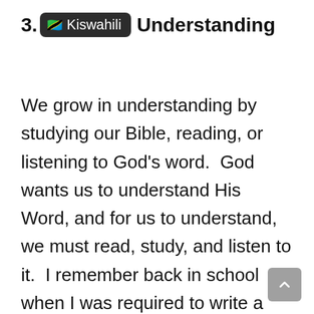3. Kiswahili Understanding
We grow in understanding by studying our Bible, reading, or listening to God's word.  God wants us to understand His Word, and for us to understand, we must read, study, and listen to it.  I remember back in school when I was required to write a book report, and to write a good book report meant I had to read the whole book.  I needed to understand what the book was about.  I needed to understand everything about